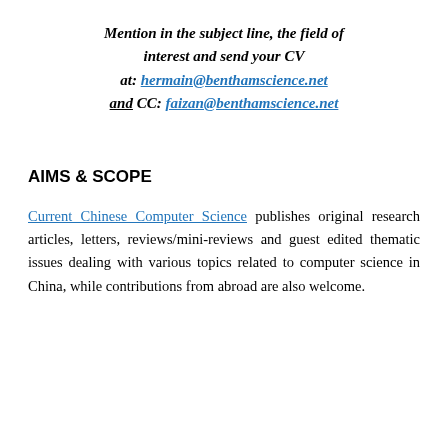Mention in the subject line, the field of interest and send your CV at: hermain@benthamscience.net and CC: faizan@benthamscience.net
AIMS & SCOPE
Current Chinese Computer Science publishes original research articles, letters, reviews/mini-reviews and guest edited thematic issues dealing with various topics related to computer science in China, while contributions from abroad are also welcome.